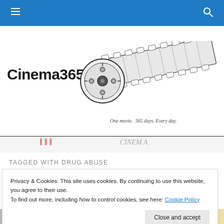Cinema365 — Navigation header with hamburger menu and search icon
[Figure (logo): Cinema365 logo with film reel and film strip illustration. Text: Cinema365. Tagline: One movie. 365 days. Every day.]
TAGGED WITH DRUG ABUSE
Privacy & Cookies: This site uses cookies. By continuing to use this website, you agree to their use. To find out more, including how to control cookies, see here: Cookie Policy
Close and accept